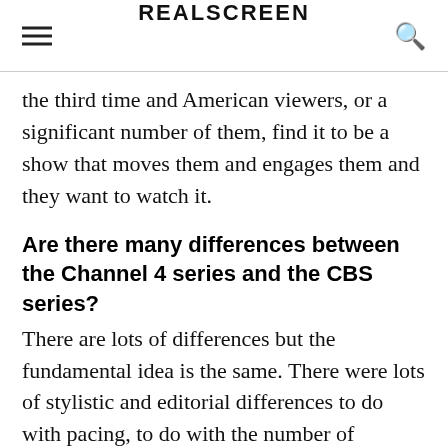REALSCREEN
the third time and American viewers, or a significant number of them, find it to be a show that moves them and engages them and they want to watch it.
Are there many differences between the Channel 4 series and the CBS series?
There are lots of differences but the fundamental idea is the same. There were lots of stylistic and editorial differences to do with pacing, to do with the number of characters featured, with music, and the use of commentary so in all sorts of ways it's a different program than the British version, just as the American Wife Swap was